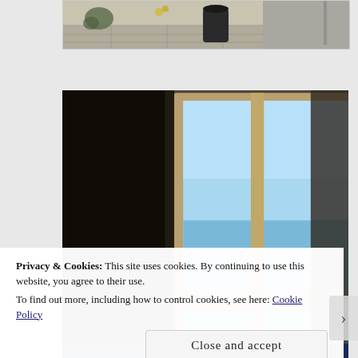[Figure (photo): Top strip showing outdoor scene with pavement, plants and a dark bin]
[Figure (photo): Interior photo showing an old wooden sash window open onto a view of the sea and blue sky, dark room walls]
Privacy & Cookies: This site uses cookies. By continuing to use this website, you agree to their use.
To find out more, including how to control cookies, see here: Cookie Policy
Close and accept